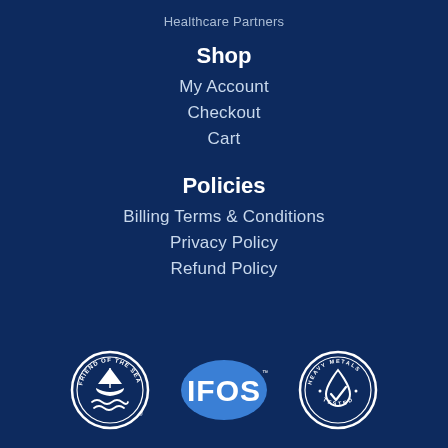Healthcare Partners
Shop
My Account
Checkout
Cart
Policies
Billing Terms & Conditions
Privacy Policy
Refund Policy
[Figure (logo): Friend of the Sea circular badge logo with sailboat and wave design]
[Figure (logo): IFOS oval blue logo with white text IFOS]
[Figure (logo): Heavy Metals Tested circular badge logo with checkmark droplet design]